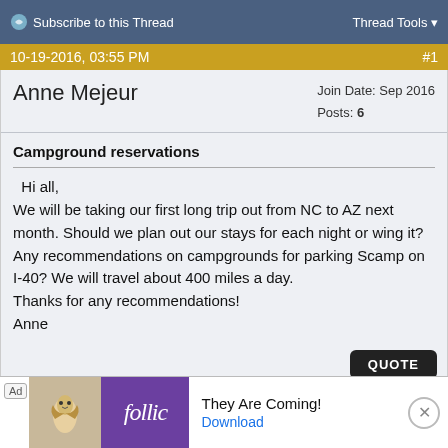Subscribe to this Thread   Thread Tools
10-19-2016, 03:55 PM   #1
Anne Mejeur   Join Date: Sep 2016   Posts: 6
Campground reservations
Hi all,
We will be taking our first long trip out from NC to AZ next month. Should we plan out our stays for each night or wing it? Any recommendations on campgrounds for parking Scamp on I-40? We will travel about 400 miles a day.
Thanks for any recommendations!
Anne
QUOTE
[Figure (other): Advertisement banner: Follic app ad with bird icon, purple logo, text 'They Are Coming!' and Download link]